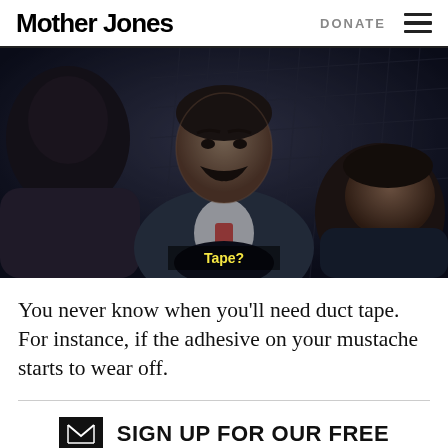Mother Jones   DONATE
[Figure (photo): Dark film still showing three men near a chain-link fence at night; a man with a mustache faces two others; subtitle text 'Tape?' in yellow appears at the bottom center]
You never know when you’ll need duct tape. For instance, if the adhesive on your mustache starts to wear off.
SIGN UP FOR OUR FREE